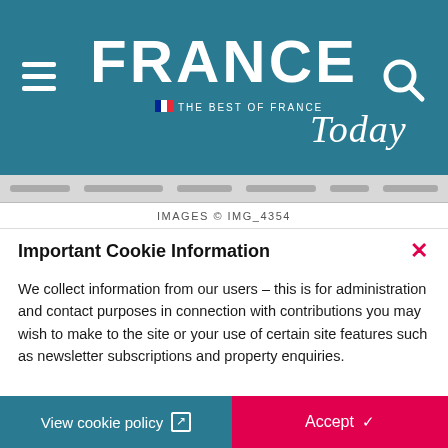[Figure (logo): France Today magazine logo on teal/blue background with hamburger menu icon on left and search icon on right. Logo shows 'FRANCE' in large bold white capitals with 'Today' in white italic script, and tagline 'THE BEST OF FRANCE' with French flag.]
IMAGES © IMG_4354
Important Cookie Information
We collect information from our users – this is for administration and contact purposes in connection with contributions you may wish to make to the site or your use of certain site features such as newsletter subscriptions and property enquiries.
View cookie policy
Accept